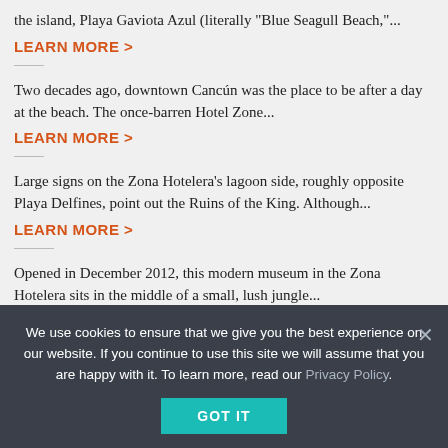the island, Playa Gaviota Azul (literally "Blue Seagull Beach,"...
LEARN MORE >
Two decades ago, downtown Cancún was the place to be after a day at the beach. The once-barren Hotel Zone...
LEARN MORE >
Large signs on the Zona Hotelera's lagoon side, roughly opposite Playa Delfines, point out the Ruins of the King. Although...
LEARN MORE >
Opened in December 2012, this modern museum in the Zona Hotelera sits in the middle of a small, lush jungle...
LEARN MORE >
...
We use cookies to ensure that we give you the best experience on our website. If you continue to use this site we will assume that you are happy with it. To learn more, read our Privacy Policy.